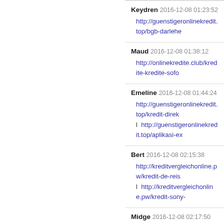Keydren 2016-12-08 01:23:52
http://guenstigeronlinekredit.top/bgb-darlehe
Maud 2016-12-08 01:38:12
http://onlinekredite.club/kredite-kredite-sofo
Emeline 2016-12-08 01:44:24
http://guenstigeronlinekredit.top/kredit-direk l http://guenstigeronlinekredit.top/aplikasi-ex
Bert 2016-12-08 02:15:38
http://kreditvergleichonline.pw/kredit-de-reis l http://kreditvergleichonline.pw/kredit-sony-
Midge 2016-12-08 02:17:50
http://kreditvergleichonline.pw/kredit-autok
Brandy 2016-12-08 02:24:45
accidental http://cheapestinsurance.pw seen